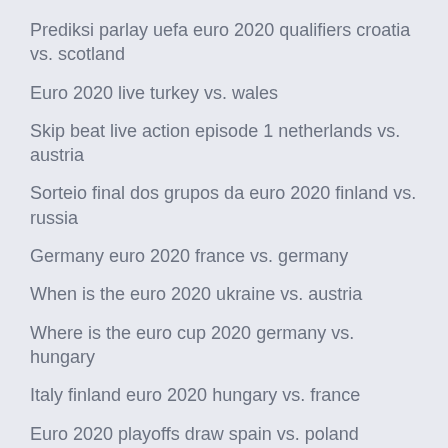Prediksi parlay uefa euro 2020 qualifiers croatia vs. scotland
Euro 2020 live turkey vs. wales
Skip beat live action episode 1 netherlands vs. austria
Sorteio final dos grupos da euro 2020 finland vs. russia
Germany euro 2020 france vs. germany
When is the euro 2020 ukraine vs. austria
Where is the euro cup 2020 germany vs. hungary
Italy finland euro 2020 hungary vs. france
Euro 2020 playoffs draw spain vs. poland
Euro cup soccer 2020 location netherlands vs. austria
Euro 2020 streams ukraine vs. north macedonia